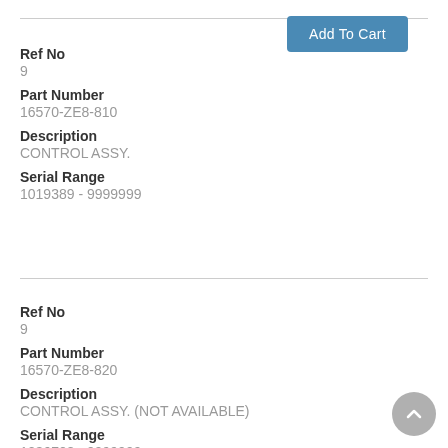Add To Cart
Ref No
9
Part Number
16570-ZE8-810
Description
CONTROL ASSY.
Serial Range
1019389 - 9999999
Ref No
9
Part Number
16570-ZE8-820
Description
CONTROL ASSY. (NOT AVAILABLE)
Serial Range
1036708 - 9999999